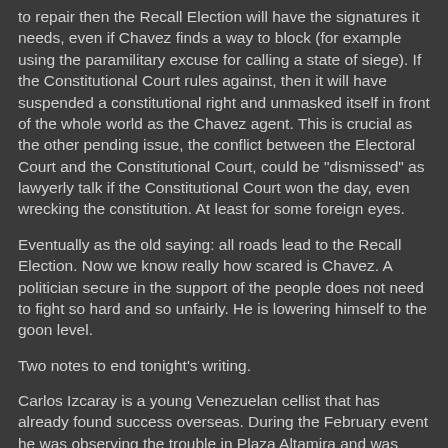to repair then the Recall Election will have the signatures it needs, even if Chavez finds a way to block (for example using the paramilitary excuse for calling a state of siege). If the Constitutional Court rules against, then it will have suspended a constitutional right and unmasked itself in front of the whole world as the Chavez agent. This is crucial as the other pending issue, the conflict between the Electoral Court and the Constitutional Court, could be "dismissed" as lawyerly talk if the Constitutional Court won the day, even wrecking the constitution. At least for some foreign eyes.
Eventually as the old saying: all roads lead to the Recall Election. Now we know really how scared is Chavez. A politician secure in the support of the people does not need to fight so hard and so unfairly. He is lowering himself to the goon level.
Two notes to end tonight's writing.
Carlos Izcaray is a young Venezuelan cellist that has already found success overseas. During the February event he was observing the trouble in Plaza Altamira and was carried away